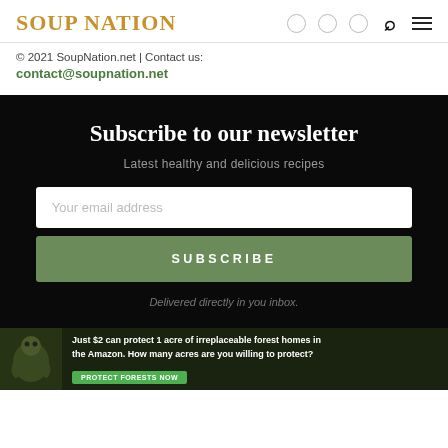SOUP NATION
© 2021 SoupNation.net | Contact us:
contact@soupnation.net
Subscribe to our newsletter
Latest healthy and delicious recipes
Your email address
SUBSCRIBE
Delivered directly in you inbox.
[Figure (photo): Amazon forest conservation advertisement with sloth image. Text: Just $2 can protect 1 acre of irreplaceable forest homes in the Amazon. How many acres are you willing to protect? Button: PROTECT FORESTS NOW]